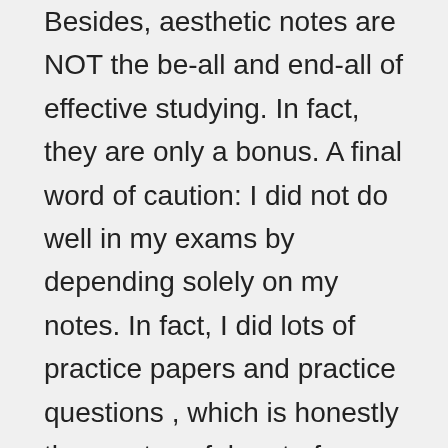Besides, aesthetic notes are NOT the be-all and end-all of effective studying. In fact, they are only a bonus. A final word of caution: I did not do well in my exams by depending solely on my notes. In fact, I did lots of practice papers and practice questions , which is honestly the most useful part of revision. Need Help with a Topic for Writing a Research Paper. When you say I need help with a topic for writing my research paper then MasterPaperwriters. Our service is spread globally offering the best prices on research papers. Whenever you say I need assistance with my research paper our writers make